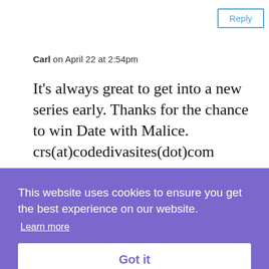Reply
Carl on April 22 at 2:54pm
It's always great to get into a new series early. Thanks for the chance to win Date with Malice. crs(at)codedivasites(dot)com
Reply
This website uses cookies to ensure you get the best experience on our website.
Learn more
Got it